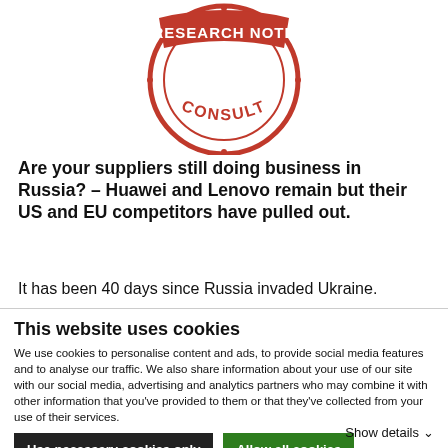[Figure (logo): Red circular stamp/seal reading 'RESEARCH NOTE' at top and 'CONSULT' in the center arc, with decorative dots around the border.]
Are your suppliers still doing business in Russia? – Huawei and Lenovo remain but their US and EU competitors have pulled out.
It has been 40 days since Russia invaded Ukraine.
This website uses cookies
We use cookies to personalise content and ads, to provide social media features and to analyse our traffic. We also share information about your use of our site with our social media, advertising and analytics partners who may combine it with other information that you've provided to them or that they've collected from your use of their services.
Use necessary cookies only
Allow all cookies
Show details